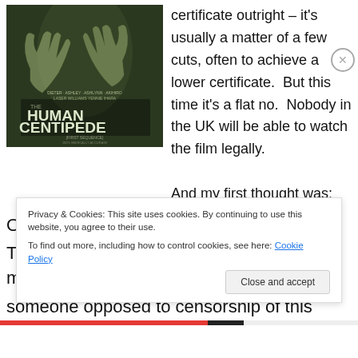[Figure (photo): Movie poster for The Human Centipede showing dark green horror imagery with hands pressing against a surface and the film title in large white letters]
certificate outright – it's usually a matter of a few cuts, often to achieve a lower certificate.  But this time it's a flat no.  Nobody in the UK will be able to watch the film legally.

And my first thought was:
Oh, thank fuck for that.
This disturbed me a bit, because I think of myself as being
someone opposed to censorship of this nature.
Privacy & Cookies: This site uses cookies. By continuing to use this website, you agree to their use.
To find out more, including how to control cookies, see here: Cookie Policy
Close and accept